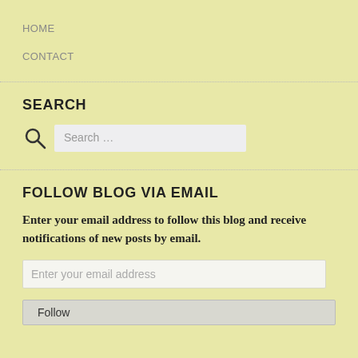HOME
CONTACT
SEARCH
Search …
FOLLOW BLOG VIA EMAIL
Enter your email address to follow this blog and receive notifications of new posts by email.
Enter your email address
Follow